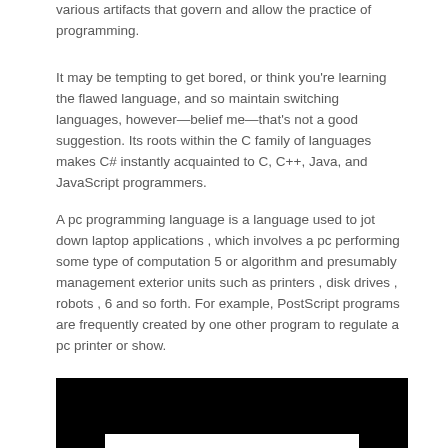various artifacts that govern and allow the practice of programming.
It may be tempting to get bored, or think you're learning the flawed language, and so maintain switching languages, however—belief me—that's not a good suggestion. Its roots within the C family of languages makes C# instantly acquainted to C, C++, Java, and JavaScript programmers.
A pc programming language is a language used to jot down laptop applications , which involves a pc performing some type of computation 5 or algorithm and presumably management exterior units such as printers , disk drives , robots , 6 and so forth. For example, PostScript programs are frequently created by one other program to regulate a pc printer or show.
[Figure (photo): Black image area with a white bar visible at the bottom, appearing to be a screenshot or photo thumbnail.]